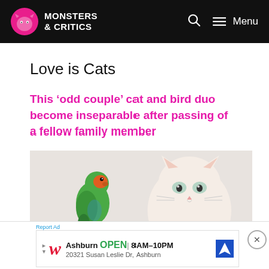Monsters & Critics — Menu
Love is Cats
This ‘odd couple’ cat and bird duo become inseparable after passing of a fellow family member
[Figure (photo): A green and orange lovebird perched next to a white kitten looking at the camera]
Report Ad
Ashburn OPEN 8AM–10PM 20321 Susan Leslie Dr, Ashburn